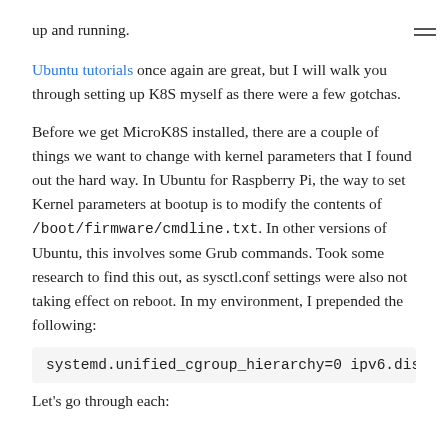up and running.
Ubuntu tutorials once again are great, but I will walk you through setting up K8S myself as there were a few gotchas.
Before we get MicroK8S installed, there are a couple of things we want to change with kernel parameters that I found out the hard way. In Ubuntu for Raspberry Pi, the way to set Kernel parameters at bootup is to modify the contents of /boot/firmware/cmdline.txt. In other versions of Ubuntu, this involves some Grub commands. Took some research to find this out, as sysctl.conf settings were also not taking effect on reboot. In my environment, I prepended the following:
systemd.unified_cgroup_hierarchy=0 ipv6.dis
Let's go through each: